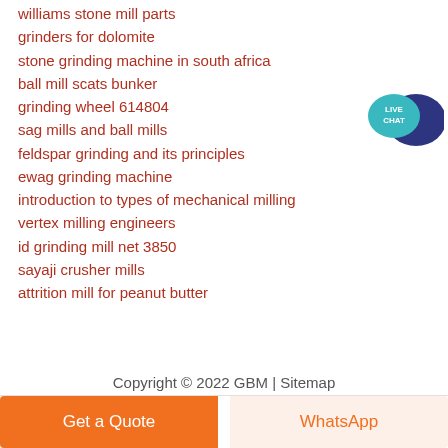williams stone mill parts
grinders for dolomite
stone grinding machine in south africa
ball mill scats bunker
grinding wheel 614804
sag mills and ball mills
feldspar grinding and its principles
ewag grinding machine
introduction to types of mechanical milling
vertex milling engineers
id grinding mill net 3850
sayaji crusher mills
attrition mill for peanut butter
[Figure (illustration): Live Chat button with teal speech bubble and dark blue chat icon]
Copyright © 2022 GBM | Sitemap
Get a Quote
WhatsApp